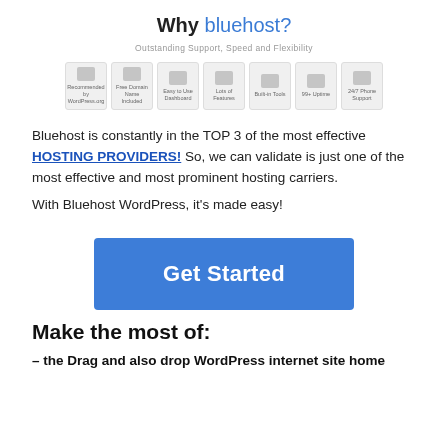Why bluehost?
Outstanding Support, Speed and Flexibility
[Figure (infographic): Row of 7 feature icon boxes with small icons and labels: Recommended by WordPress.org, Free Domain Name Included, Easy to Use Dashboard, Lots of Features, Built-in Tools, 99+ Uptime, 24/7 Phone Support]
Bluehost is constantly in the TOP 3 of the most effective HOSTING PROVIDERS! So, we can validate is just one of the most effective and most prominent hosting carriers.
With Bluehost WordPress, it's made easy!
[Figure (other): Blue 'Get Started' button]
Make the most of:
– the Drag and also drop WordPress internet site home